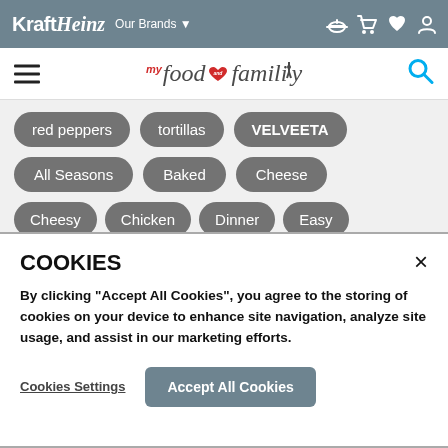Kraft Heinz Our Brands
my food and family
red peppers
tortillas
VELVEETA
All Seasons
Baked
Cheese
Cheesy
Chicken
Dinner
Easy
COOKIES
By clicking “Accept All Cookies”, you agree to the storing of cookies on your device to enhance site navigation, analyze site usage, and assist in our marketing efforts.
Cookies Settings
Accept All Cookies